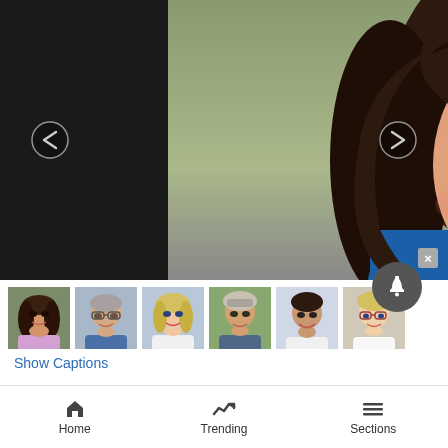[Figure (photo): Large portrait photo of a smiling woman with dark brown shoulder-length hair, wearing a blue top, with nature background. Navigation arrows on left and right sides.]
[Figure (photo): Row of 6 small thumbnail portrait photos of different people]
Show Captions
Editor's note: The election for two open seats on the
Home   Trending   Sections